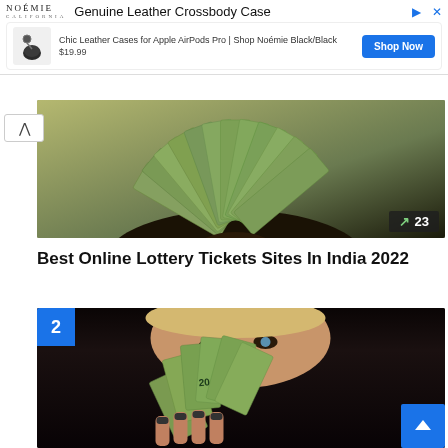[Figure (screenshot): Advertisement banner for Noémie Genuine Leather Crossbody Case showing AirPods Pro leather case product with price $19.99 and Shop Now button]
[Figure (photo): A hand holding a large fan of US dollar bills against a dark background with trending badge showing 23]
Best Online Lottery Tickets Sites In India 2022
[Figure (photo): A person holding a fan of US dollar bills in front of their face, showing only their eyes, with a number 2 badge in the top left corner]